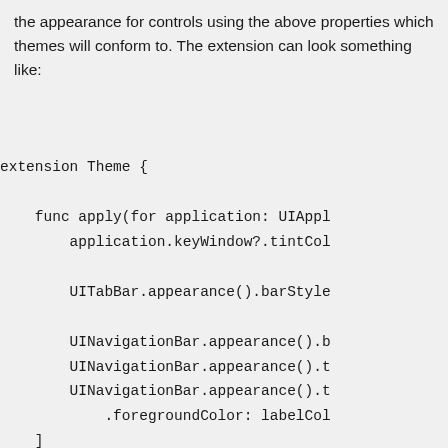the appearance for controls using the above properties which themes will conform to. The extension can look something like:
[Figure (screenshot): Code snippet showing a Swift extension on Theme with an apply(for application: UIApplication) function that sets keyWindow tintColor, UITabBar appearance barStyle, UINavigationBar appearance barTintColor, titleTextAttributes, largeTitleTextAttributes with foregroundColor labelColor, and closing bracket.]